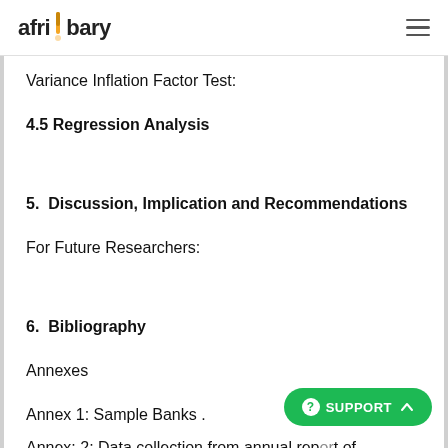afribary
Variance Inflation Factor Test:
4.5 Regression Analysis
5.  Discussion, Implication and Recommendations
For Future Researchers:
6.  Bibliography
Annexes
Annex 1: Sample Banks .
Annex: 2: Data collection from annual report of sample companies and NERSE